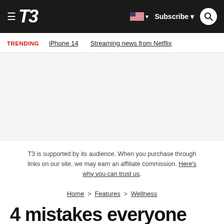T3 — Subscribe | Navigation bar
TRENDING   iPhone 14   Streaming news from Netflix
[Figure (other): Advertisement / empty ad slot area]
T3 is supported by its audience. When you purchase through links on our site, we may earn an affiliate commission. Here's why you can trust us.
Home > Features > Wellness
4 mistakes everyone makes when